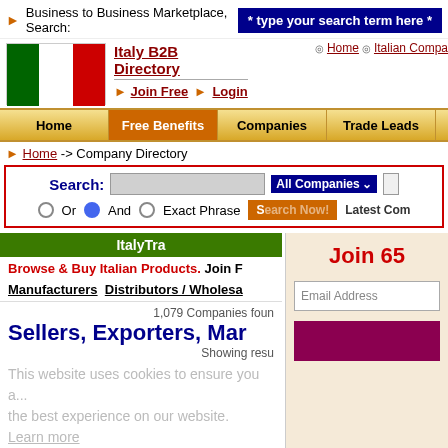Business to Business Marketplace, Search: * type your search term here *
[Figure (illustration): Italian flag with green, white, and red vertical stripes]
Italy B2B Directory
Join Free > Login
Home | Italian Compa...
Home | Free Benefits | Companies | Trade Leads
Home -> Company Directory
Search: [input] All Companies v | Or (radio) And (radio selected) Exact Phrase | Search Now! | Latest Com...
ItalyTra...
Browse & Buy Italian Products. Join F...
Manufacturers  Distributors / Wholesa...
1,079 Companies foun...
Sellers, Exporters, Mar...
Showing resu...
This website uses cookies to ensure you a... the best experience on our website. Learn more
Company Index A B C D E F G H I J K L M N...
Logo
Join 65... Email Address [join button]